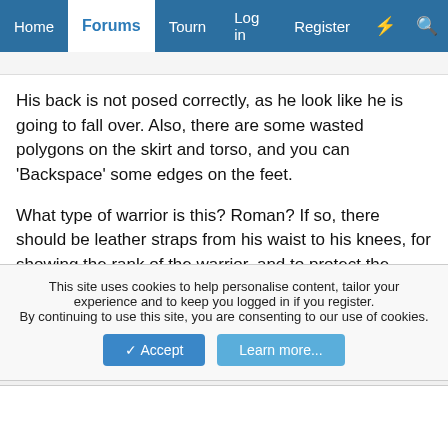Home | Forums | Tourn | Log in | Register
His back is not posed correctly, as he look like he is going to fall over. Also, there are some wasted polygons on the skirt and torso, and you can 'Backspace' some edges on the feet.

What type of warrior is this? Roman? If so, there should be leather straps from his waist to his knees, for showing the rank of the warrior, and to protect the groin. I also don't believe that they wore boots. They wore sandals with leather (or steel) guards, protecting the shin.
Almighty_Gir  New Member  ✔ HL Verified  🏠 Oldtimer
This site uses cookies to help personalise content, tailor your experience and to keep you logged in if you register.
By continuing to use this site, you are consenting to our use of cookies.